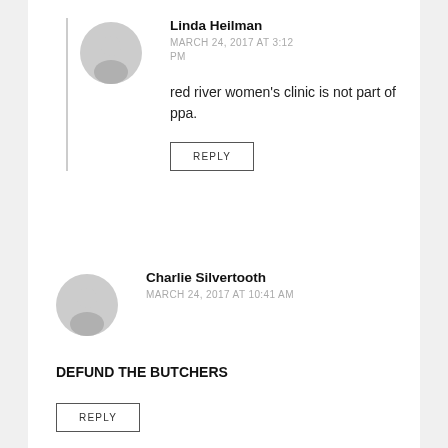[Figure (illustration): Gray circular user avatar icon for Linda Heilman]
Linda Heilman
MARCH 24, 2017 AT 3:12 PM
red river women's clinic is not part of ppa.
REPLY
[Figure (illustration): Gray circular user avatar icon for Charlie Silvertooth]
Charlie Silvertooth
MARCH 24, 2017 AT 10:41 AM
DEFUND THE BUTCHERS
REPLY